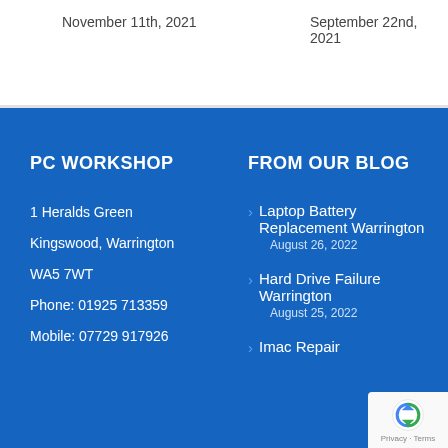November 11th, 2021
September 22nd, 2021
PC WORKSHOP
1 Heralds Green
Kingswood, Warrington
WA5 7WT
Phone: 01925 713359
Mobile: 07729 917926
FROM OUR BLOG
Laptop Battery Replacement Warrington — August 26, 2022
Hard Drive Failure Warrington — August 25, 2022
Imac Repair